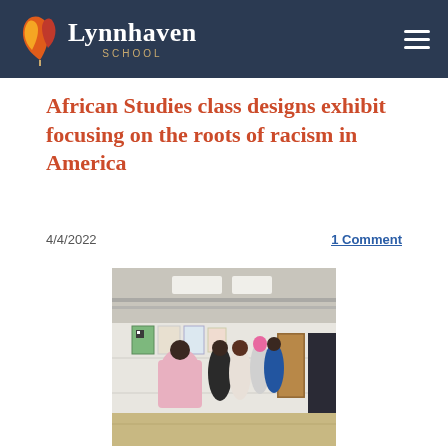Lynnhaven School
African Studies class designs exhibit focusing on the roots of racism in America
4/4/2022
1 Comment
[Figure (photo): Students standing in a school hallway looking at posters and exhibits mounted on the wall. The hallway has white cinderblock walls, fluorescent lighting, and a beige tile floor. A door with a brown wood finish is visible at the end of the hallway.]